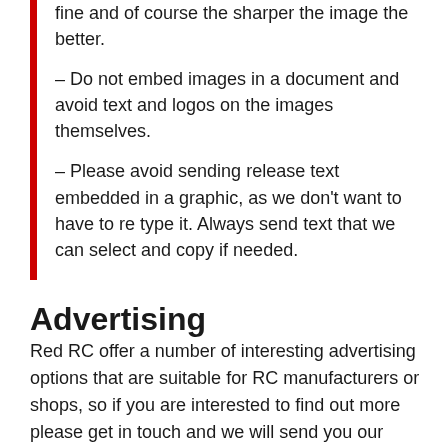fine and of course the sharper the image the better.
– Do not embed images in a document and avoid text and logos on the images themselves.
– Please avoid sending release text embedded in a graphic, as we don't want to have to re type it. Always send text that we can select and copy if needed.
Advertising
Red RC offer a number of interesting advertising options that are suitable for RC manufacturers or shops, so if you are interested to find out more please get in touch and we will send you our advertising pack that contains more information on the different options as well as our rates. To contact us use the e-mail address listed below. In order